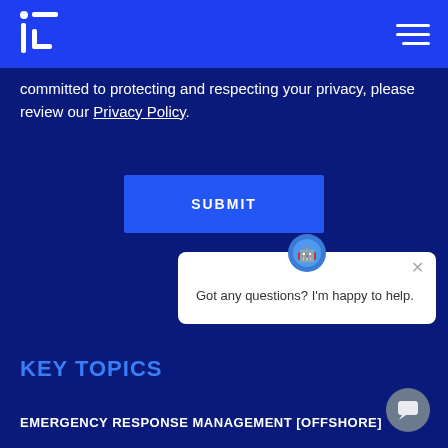Navigation header with logo and hamburger menu
committed to protecting and respecting your privacy, please review our Privacy Policy.
SUBMIT
Got any questions? I'm happy to help.
KEY TOPICS
EMERGENCY RESPONSE MANAGEMENT [OFFSHORE]